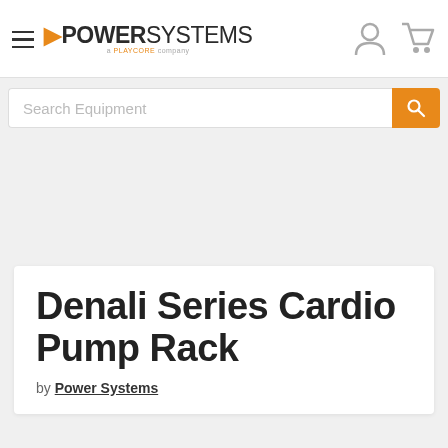POWER SYSTEMS
Search Equipment
Denali Series Cardio Pump Rack
by Power Systems